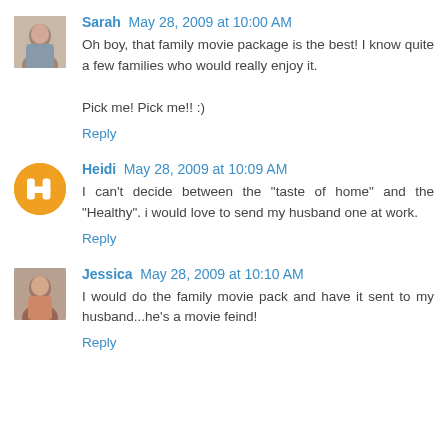Sarah May 28, 2009 at 10:00 AM
Oh boy, that family movie package is the best! I know quite a few families who would really enjoy it.

Pick me! Pick me!! :)
Reply
Heidi May 28, 2009 at 10:09 AM
I can't decide between the "taste of home" and the "Healthy". i would love to send my husband one at work.
Reply
Jessica May 28, 2009 at 10:10 AM
I would do the family movie pack and have it sent to my husband...he's a movie feind!
Reply